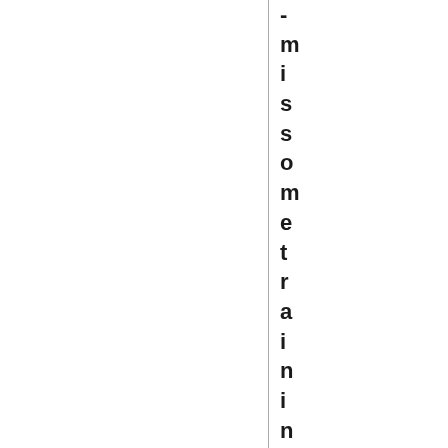-missometrain ingsessions.Shoul